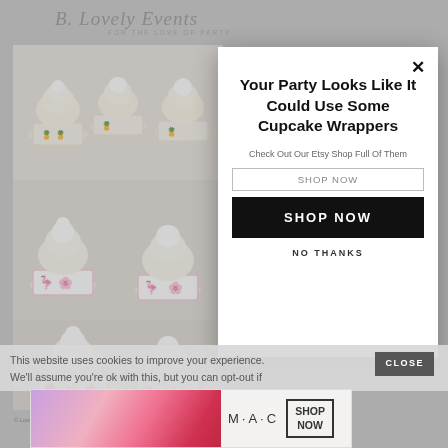[Figure (screenshot): Background website screenshot showing B.Lovely Events blog with cupcake photos, menu bar, and search bar, partially obscured by modal overlay]
Your Party Looks Like It Could Use Some Cupcake Wrappers
Check Out Our Etsy Shop Full Of Them
SHOP NOW
NO THANKS
This website uses cookies to improve your experience. We'll assume you're ok with this, but you can opt-out if
CLOSE
[Figure (screenshot): MAC cosmetics advertisement banner showing lipsticks with SHOP NOW button]